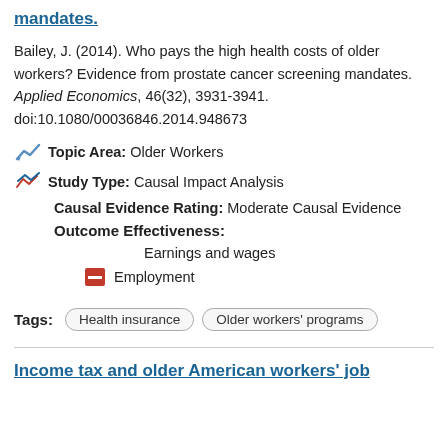mandates.
Bailey, J. (2014). Who pays the high health costs of older workers? Evidence from prostate cancer screening mandates. Applied Economics, 46(32), 3931-3941. doi:10.1080/00036846.2014.948673
Topic Area: Older Workers
Study Type: Causal Impact Analysis
Causal Evidence Rating: Moderate Causal Evidence
Outcome Effectiveness:
Earnings and wages
Employment
Tags: Health insurance  Older workers' programs
Income tax and older American workers' job